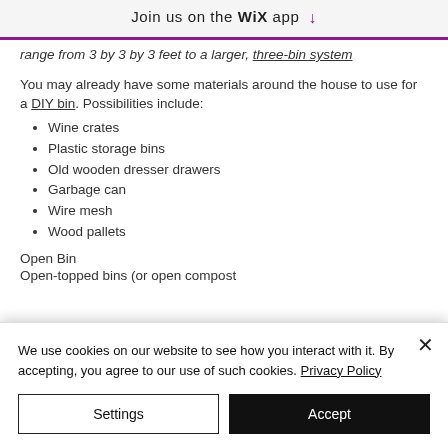Join us on the WiX app ↓
range from 3 by 3 by 3 feet to a larger, three-bin system
You may already have some materials around the house to use for a DIY bin. Possibilities include:
Wine crates
Plastic storage bins
Old wooden dresser drawers
Garbage can
Wire mesh
Wood pallets
Open Bin
Open-topped bins (or open compost
We use cookies on our website to see how you interact with it. By accepting, you agree to our use of such cookies. Privacy Policy